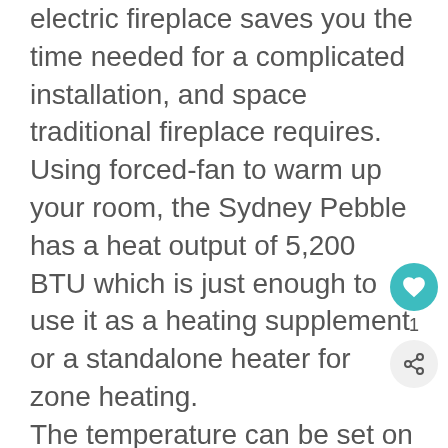electric fireplace saves you the time needed for a complicated installation, and space traditional fireplace requires. Using forced-fan to warm up your room, the Sydney Pebble has a heat output of 5,200 BTU which is just enough to use it as a heating supplement or a standalone heater for zone heating. The temperature can be set on high or low, or you can skip the heating function altogether and use just the flame-only mode when you want to create a snug ambiance in your bedroom without overheating. The sleek, contemporary design works well in differently-styled bedrooms, and